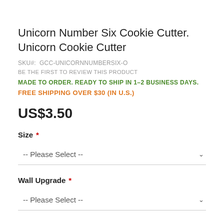Unicorn Number Six Cookie Cutter. Unicorn Cookie Cutter
SKU#: GCC-UNICORNNUMBERSIX-O
BE THE FIRST TO REVIEW THIS PRODUCT
MADE TO ORDER. READY TO SHIP IN 1–2 BUSINESS DAYS.
FREE SHIPPING OVER $30 (IN U.S.)
US$3.50
Size *
-- Please Select --
Wall Upgrade *
-- Please Select --